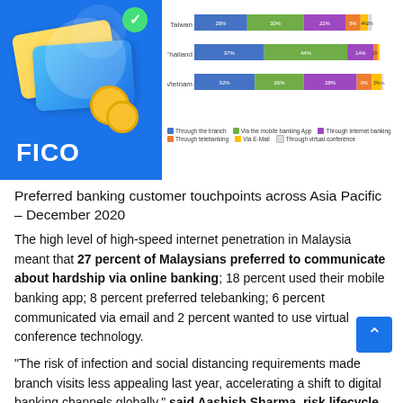[Figure (stacked-bar-chart): Preferred banking customer touchpoints across Asia Pacific – December 2020]
[Figure (illustration): FICO logo with blue background and decorative card/coin illustration]
Preferred banking customer touchpoints across Asia Pacific – December 2020
The high level of high-speed internet penetration in Malaysia meant that 27 percent of Malaysians preferred to communicate about hardship via online banking; 18 percent used their mobile banking app; 8 percent preferred telebanking; 6 percent communicated via email and 2 percent wanted to use virtual conference technology.
"The risk of infection and social distancing requirements made branch visits less appealing last year, accelerating a shift to digital banking channels globally," said Aashish Sharma, risk lifecycle and decision management lead for FICO in Asia Pacific. "Being able to deliver and manage numerous channels in line with customer preference and